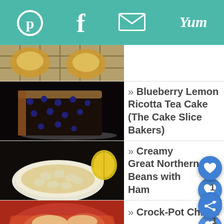Pinterest | Facebook | Email | Yum
[Figure (photo): Partial top view of baked pastries on a cooling rack]
» Blueberry Lemon Ricotta Tea Cake (The Cake Slice Bakers)
[Figure (photo): Blueberry Lemon Ricotta Tea Cake slice on a plate]
» Creamy Great Northern Beans with Ham
[Figure (photo): Bowl of creamy white beans with ham and a lemon slice]
» Crock-Pot Chicken Parmes...
[Figure (photo): Partial view of Crock-Pot Chicken Parmesan]
[Figure (photo): Advertisement - Dave Thomas Foundation for Adoption with woman and quote]